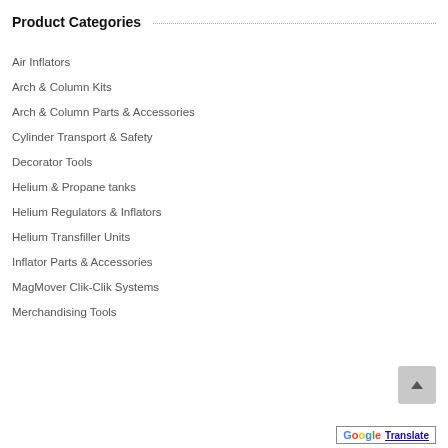Product Categories
Air Inflators
Arch & Column Kits
Arch & Column Parts & Accessories
Cylinder Transport & Safety
Decorator Tools
Helium & Propane tanks
Helium Regulators & Inflators
Helium Transfiller Units
Inflator Parts & Accessories
MagMover Clik-Clik Systems
Merchandising Tools